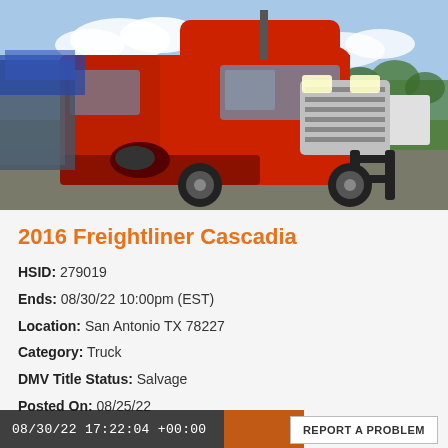[Figure (photo): Damaged red 2016 Freightliner Cascadia semi-truck in a salvage yard. The truck has visible collision damage on the front left side, missing hood panels, and damaged bodywork. Blue sky with clouds in background, trees and other vehicles visible.]
2016 Freightliner Cascadia
HSID: 279019
Ends: 08/30/22 10:00pm (EST)
Location: San Antonio TX 78227
Category: Truck
DMV Title Status: Salvage
Posted On: 08/25/22
08/30/22 17:22:04 +00:00